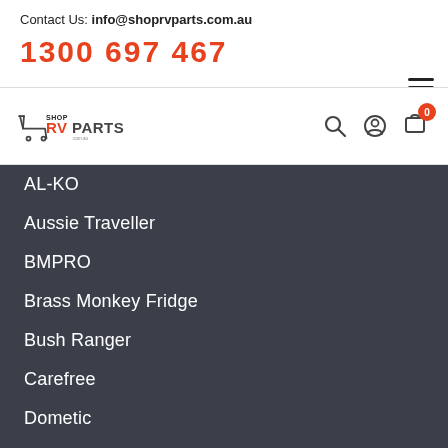Contact Us: info@shoprvparts.com.au
1300 697 467
[Figure (logo): Shop RV Parts logo with shopping cart icon and brand name]
AL-KO
Aussie Traveller
BMPRO
Brass Monkey Fridge
Bush Ranger
Carefree
Dometic
Eberspacher
Fiamma
Furion